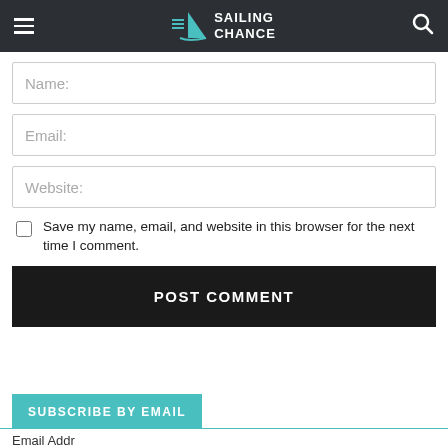SAILING CHANCE
Name:
Email:
Website:
Save my name, email, and website in this browser for the next time I comment.
POST COMMENT
SUBSCRIBE BY EMAIL
Email Addr